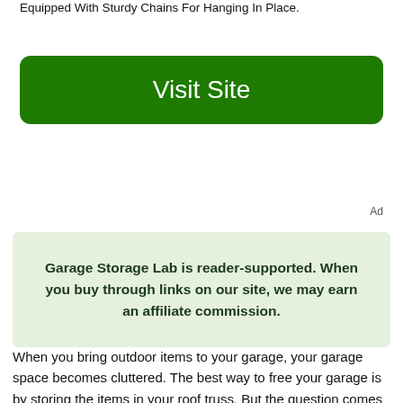Equipped With Sturdy Chains For Hanging In Place.
Visit Site
Ad
Garage Storage Lab is reader-supported. When you buy through links on our site, we may earn an affiliate commission.
When you bring outdoor items to your garage, your garage space becomes cluttered. The best way to free your garage is by storing the items in your roof truss. But the question comes – how much weight can you hang from a roof truss?